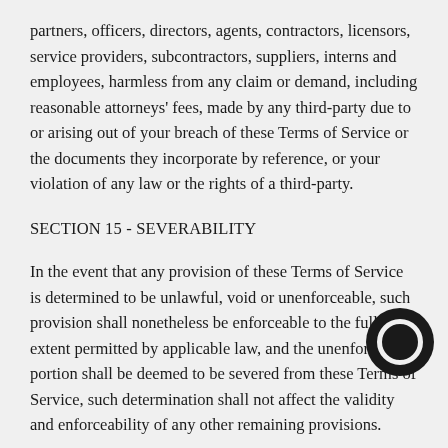partners, officers, directors, agents, contractors, licensors, service providers, subcontractors, suppliers, interns and employees, harmless from any claim or demand, including reasonable attorneys' fees, made by any third-party due to or arising out of your breach of these Terms of Service or the documents they incorporate by reference, or your violation of any law or the rights of a third-party.
SECTION 15 - SEVERABILITY
In the event that any provision of these Terms of Service is determined to be unlawful, void or unenforceable, such provision shall nonetheless be enforceable to the fullest extent permitted by applicable law, and the unenforceable portion shall be deemed to be severed from these Terms of Service, such determination shall not affect the validity and enforceability of any other remaining provisions.